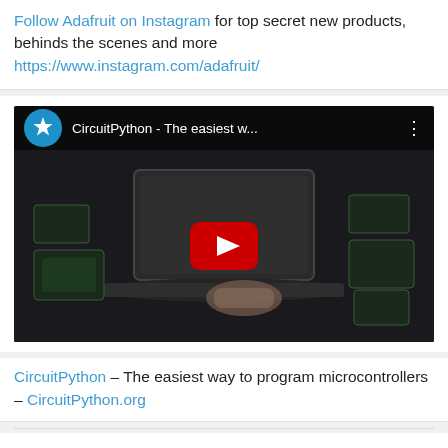Follow Adafruit on Instagram for top secret new products, behinds the scenes and more https://www.instagram.com/adafruit/
[Figure (screenshot): YouTube video thumbnail for CircuitPython - The easiest w... with play button overlay and Adafruit star logo icon in top-left]
CircuitPython – The easiest way to program microcontrollers – CircuitPython.org
Maker Business — Moving manufacturing out of China